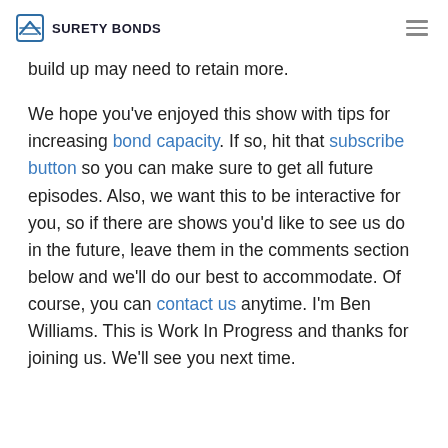SURETY BONDS
build up may need to retain more.
We hope you’ve enjoyed this show with tips for increasing bond capacity. If so, hit that subscribe button so you can make sure to get all future episodes. Also, we want this to be interactive for you, so if there are shows you’d like to see us do in the future, leave them in the comments section below and we’ll do our best to accommodate. Of course, you can contact us anytime. I’m Ben Williams. This is Work In Progress and thanks for joining us. We’ll see you next time.